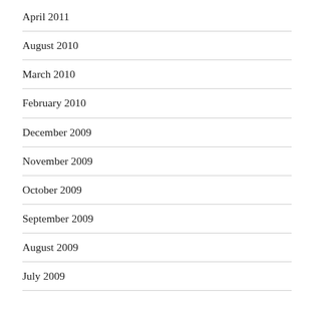April 2011
August 2010
March 2010
February 2010
December 2009
November 2009
October 2009
September 2009
August 2009
July 2009